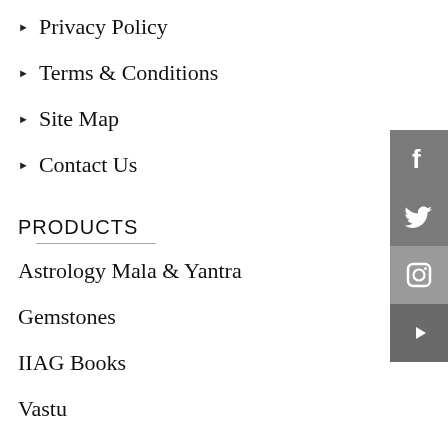Privacy Policy
Terms & Conditions
Site Map
Contact Us
PRODUCTS
Astrology Mala & Yantra
Gemstones
IIAG Books
Vastu
Rudraksha
MY ACCOUNT